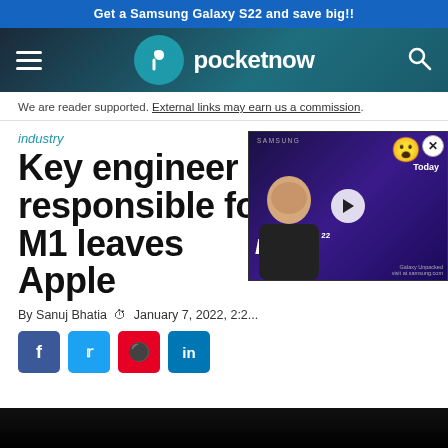Get a Samsung Galaxy S22 and save big!!
[Figure (logo): Pocketnow website navigation bar with hamburger menu, Pocketnow logo and search icon]
We are reader supported. External links may earn us a commission.
industry
Key engineer responsible for M1 leaves Apple
By Sanuj Bhatia  January 7, 2022, 2:2...
[Figure (screenshot): Video popup showing Samsung Daily video thumbnail with a presenter, emoji, and Samsung Galaxy Unpacked branding]